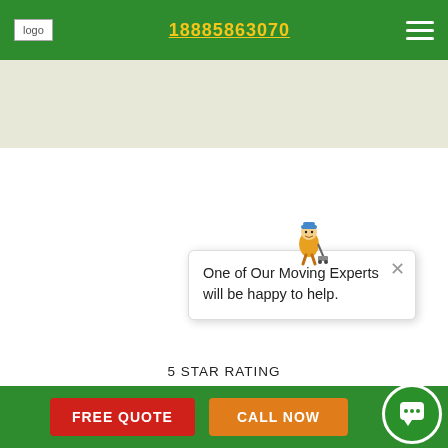logo | 18885863070 | menu
[Figure (other): Map/banner background area in light beige/tan]
[Figure (illustration): Moving company mascot character (mover with dolly)]
One of Our Moving Experts will be happy to help.
5 STAR RATING
OUR MOVING SERVICE REVIEWS IN MISSISSAUGA ON
FREE QUOTE | CALL NOW